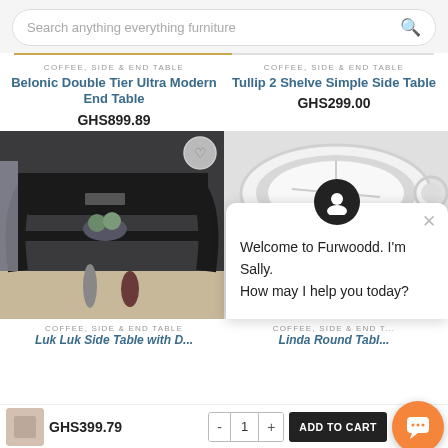[Figure (screenshot): Search bar with text 'Search anything everything furniture' and a search icon]
COFFEE, SIDE & END TABLE
Belonic Double Tier Ultra Modern End Table
GHS899.89
COFFEE, SIDE & END TABLE
Tullip 2 Shelve Simple Side Table
GHS299.00
[Figure (photo): Dark black wooden end table with shelves, decorative vases and balls]
[Figure (photo): White round side table with wooden legs]
Welcome to Furwoodd. I'm Sally. How may I help you today?
COFFEE, SIDE & END TABLE
Luk Luk Side Table with D...
COFFEE, SIDE & END T...
Linda Round Tabl...
GHS399.79
GHS299.00
GHS89.00